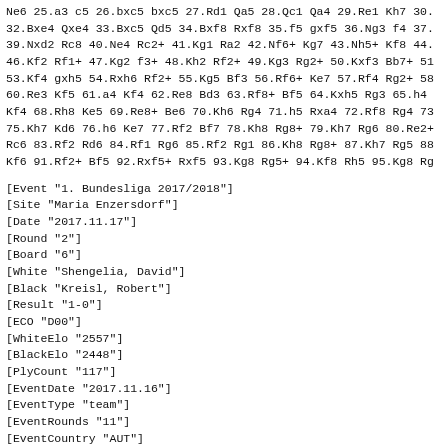Ne6 25.a3 c5 26.bxc5 bxc5 27.Rd1 Qa5 28.Qc1 Qa4 29.Re1 Kh7 30. 32.Bxe4 Qxe4 33.Bxc5 Qd5 34.Bxf8 Rxf8 35.f5 gxf5 36.Ng3 f4 37. 39.Nxd2 Rc8 40.Ne4 Rc2+ 41.Kg1 Ra2 42.Nf6+ Kg7 43.Nh5+ Kf8 44. 46.Kf2 Rf1+ 47.Kg2 f3+ 48.Kh2 Rf2+ 49.Kg3 Rg2+ 50.Kxf3 Bb7+ 51 53.Kf4 gxh5 54.Rxh6 Rf2+ 55.Kg5 Bf3 56.Rf6+ Ke7 57.Rf4 Rg2+ 58 60.Re3 Kf5 61.a4 Kf4 62.Re8 Bd3 63.Rf8+ Bf5 64.Kxh5 Rg3 65.h4 Kf4 68.Rh8 Ke5 69.Re8+ Be6 70.Kh6 Rg4 71.h5 Rxa4 72.Rf8 Rg4 73 75.Kh7 Kd6 76.h6 Ke7 77.Rf2 Bf7 78.Kh8 Rg8+ 79.Kh7 Rg6 80.Re2+ Rc6 83.Rf2 Rd6 84.Rf1 Rg6 85.Rf2 Rg1 86.Kh8 Rg8+ 87.Kh7 Rg5 88 Kf6 91.Rf2+ Bf5 92.Rxf5+ Rxf5 93.Kg8 Rg5+ 94.Kf8 Rh5 95.Kg8 Rg
[Event "1. Bundesliga 2017/2018"]
[Site "Maria Enzersdorf"]
[Date "2017.11.17"]
[Round "2"]
[Board "6"]
[White "Shengelia, David"]
[Black "Kreisl, Robert"]
[Result "1-0"]
[ECO "D00"]
[WhiteElo "2557"]
[BlackElo "2448"]
[PlyCount "117"]
[EventDate "2017.11.16"]
[EventType "team"]
[EventRounds "11"]
[EventCountry "AUT"]
[WhiteTeam "Schachklub Sparkasse Jenbach"]
[BlackTeam "SC MPOE Maria Saal"]
1.d4 d5 2.e3 Nf6 3.Nd2 e6 4.Bd3 c5 5.c3 Be7 6.f4 cxd4 7.exd4 Q